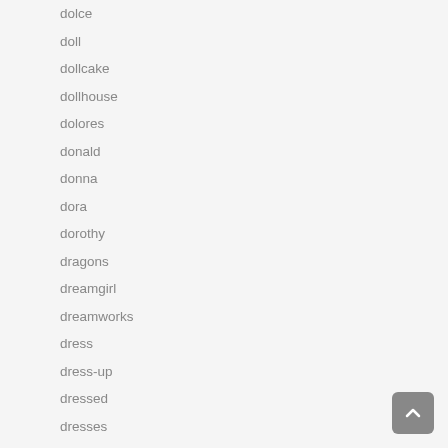dolce
doll
dollcake
dollhouse
dolores
donald
donna
dora
dorothy
dragons
dreamgirl
dreamworks
dress
dress-up
dressed
dresses
duck
easter
easy
educational
edwardian